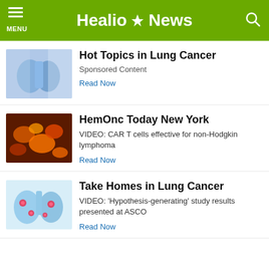Healio News
Hot Topics in Lung Cancer
Sponsored Content
Read Now
HemOnc Today New York
VIDEO: CAR T cells effective for non-Hodgkin lymphoma
Read Now
Take Homes in Lung Cancer
VIDEO: 'Hypothesis-generating' study results presented at ASCO
Read Now